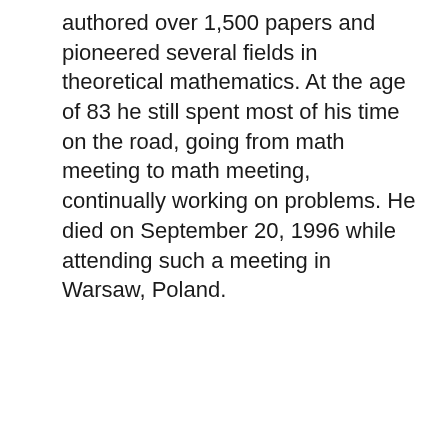authored over 1,500 papers and pioneered several fields in theoretical mathematics. At the age of 83 he still spent most of his time on the road, going from math meeting to math meeting, continually working on problems. He died on September 20, 1996 while attending such a meeting in Warsaw, Poland.